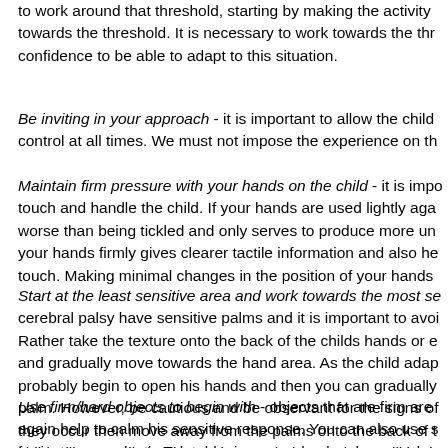to work around that threshold, starting by making the activity towards the threshold. It is necessary to work towards the threshold with confidence to be able to adapt to this situation.
Be inviting in your approach - it is important to allow the child control at all times. We must not impose the experience on th
Maintain firm pressure with your hands on the child - it is important to touch and handle the child. If your hands are used lightly the sensation is worse than being tickled and only serves to produce more unwanted responses; your hands firmly gives clearer tactile information and also helps to calm the touch. Making minimal changes in the position of your hands
Start at the least sensitive area and work towards the most sensitive - cerebral palsy have sensitive palms and it is important to avoid these initially. Rather take the texture onto the back of the childs hands or elbows or arms and gradually move towards the hand area. As the child adapts, the child will probably begin to open his hands and then you can gradually move towards the palm. However, be cautious and be observant for the signs of distress and if they occur then move away from the palms onto the back of the hand again. The child will generally begin to adapt each time and you will be able to work on the palm.
Use firm/hard objects to begin with - objects that are firm are again help to calm his sensitive response. You can also use sand or playdough, for instance a plastic Teletubby in some playdough or sand. In